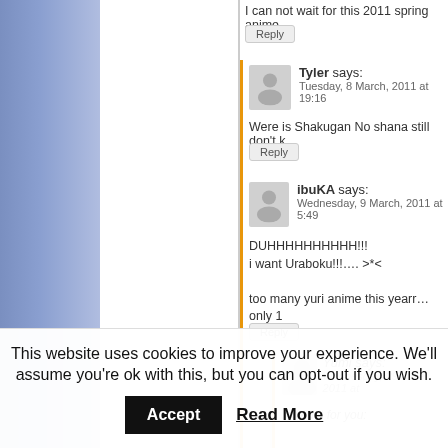I can not wait for this 2011 spring anime
Reply
Tyler says:
Tuesday, 8 March, 2011 at 19:16
Were is Shakugan No shana still don't k
Reply
ibuKA says:
Wednesday, 9 March, 2011 at 5:49
DUHHHHHHHHHH!!!
i want Uraboku!!!…. >*<

too many yuri anime this yearr…only 1
Reply
Yumi says:
Wednesday, 29 June, 2011 at
I fixed it for you:
This website uses cookies to improve your experience. We'll assume you're ok with this, but you can opt-out if you wish.
Accept
Read More